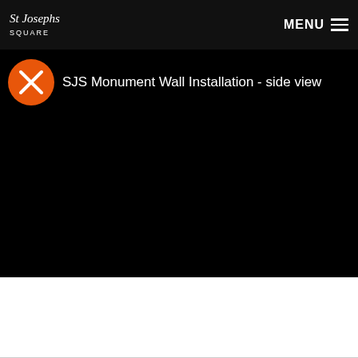St. Joseph's Square — MENU
[Figure (screenshot): Video thumbnail for 'SJS Monument Wall Installation - side view' with an orange circle icon containing a white X (close/cancel) symbol on a black background]
SJS Monument Wall Installation - side view